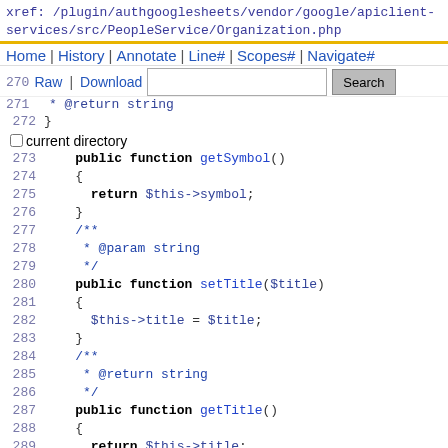xref: /plugin/authgooglesheets/vendor/google/apiclient-services/src/PeopleService/Organization.php
Home | History | Annotate | Line# | Scopes# | Navigate#
270 Raw | Download  [search box] Search  current directory
271  * @return string
272 }
273     public function getSymbol()
274     {
275       return $this->symbol;
276     }
277     /**
278      * @param string
279      */
280     public function setTitle($title)
281     {
282       $this->title = $title;
283     }
284     /**
285      * @return string
286      */
287     public function getTitle()
288     {
289       return $this->title;
290     }
291     /**
292      * @param string
293      */
294     public function setType($type)